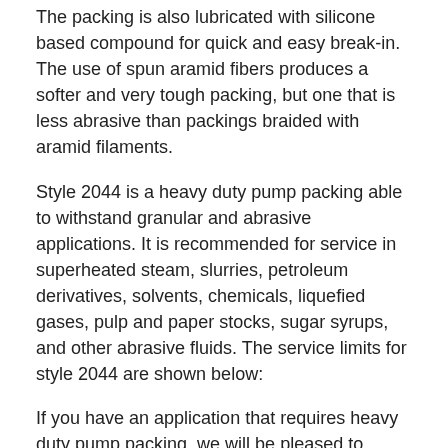The packing is also lubricated with silicone based compound for quick and easy break-in. The use of spun aramid fibers produces a softer and very tough packing, but one that is less abrasive than packings braided with aramid filaments.
Style 2044 is a heavy duty pump packing able to withstand granular and abrasive applications. It is recommended for service in superheated steam, slurries, petroleum derivatives, solvents, chemicals, liquefied gases, pulp and paper stocks, sugar syrups, and other abrasive fluids. The service limits for style 2044 are shown below:
If you have an application that requires heavy duty pump packing, we will be pleased to speak with you about the benefits of Teadit styles 2070 and 2044, as well as other fine Teadit packings we carry. Please contact our sales department at org@canadarubbergroup.com